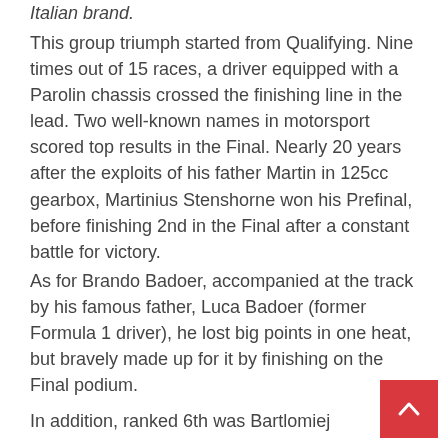Italian brand.
This group triumph started from Qualifying. Nine times out of 15 races, a driver equipped with a Parolin chassis crossed the finishing line in the lead. Two well-known names in motorsport scored top results in the Final. Nearly 20 years after the exploits of his father Martin in 125cc gearbox, Martinius Stenshorne won his Prefinal, before finishing 2nd in the Final after a constant battle for victory.
As for Brando Badoer, accompanied at the track by his famous father, Luca Badoer (former Formula 1 driver), he lost big points in one heat, but bravely made up for it by finishing on the Final podium.
In addition, ranked 6th was Bartlomiej